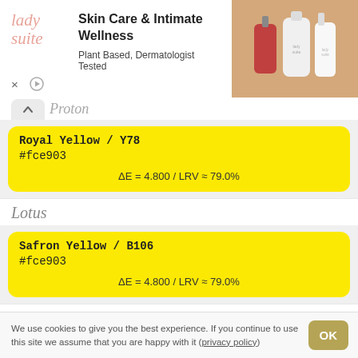[Figure (screenshot): Advertisement banner for Lady Suite - Skin Care & Intimate Wellness. Shows logo text in pink italic serif font, ad copy 'Plant Based, Dermatologist Tested', and product bottles photo on right side. Close X and play icons at bottom left.]
Proton
Royal Yellow / Y78
#fce903
ΔE = 4.800 / LRV ≈ 79.0%
Lotus
Safron Yellow / B106
#fce903
ΔE = 4.800 / LRV ≈ 79.0%
Dacia
Gelb Verzul / 452
#fce903
We use cookies to give you the best experience. If you continue to use this site we assume that you are happy with it (privacy policy)